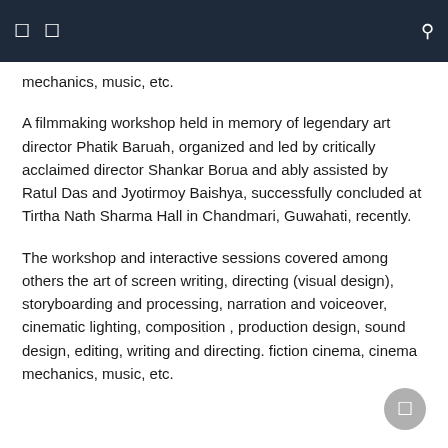mechanics, music, etc.
A filmmaking workshop held in memory of legendary art director Phatik Baruah, organized and led by critically acclaimed director Shankar Borua and ably assisted by Ratul Das and Jyotirmoy Baishya, successfully concluded at Tirtha Nath Sharma Hall in Chandmari, Guwahati, recently.
The workshop and interactive sessions covered among others the art of screen writing, directing (visual design), storyboarding and processing, narration and voiceover, cinematic lighting, composition , production design, sound design, editing, writing and directing. fiction cinema, cinema mechanics, music, etc.